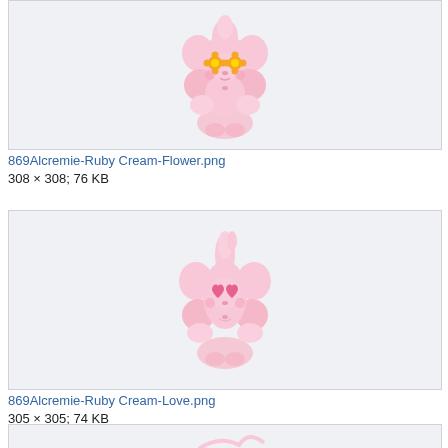[Figure (illustration): Pink Alcremie Pokemon with orange flower eyes - Ruby Cream Flower form]
869Alcremie-Ruby Cream-Flower.png
308 × 308; 76 KB
[Figure (illustration): Pink Alcremie Pokemon with pink heart eyes - Ruby Cream Love form]
869Alcremie-Ruby Cream-Love.png
305 × 305; 74 KB
[Figure (illustration): Partial view of another Alcremie form at the bottom of the page]